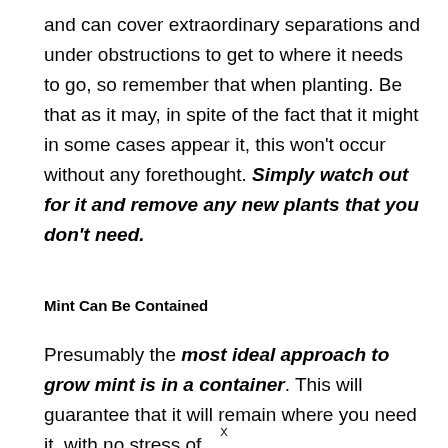and can cover extraordinary separations and under obstructions to get to where it needs to go, so remember that when planting. Be that as it may, in spite of the fact that it might in some cases appear it, this won't occur without any forethought. Simply watch out for it and remove any new plants that you don't need.
Mint Can Be Contained
Presumably the most ideal approach to grow mint is in a container. This will guarantee that it will remain where you need it, with no stress of
x